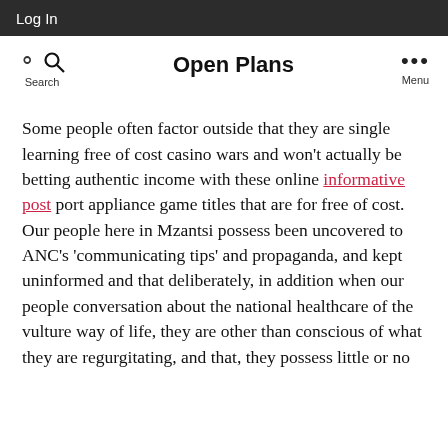Log In
Open Plans
Some people often factor outside that they are single learning free of cost casino wars and won't actually be betting authentic income with these online informative post port appliance game titles that are for free of cost. Our people here in Mzantsi possess been uncovered to ANC's 'communicating tips' and propaganda, and kept uninformed and that deliberately, in addition when our people conversation about the national healthcare of the vulture way of life, they are other than conscious of what they are regurgitating, and that, they possess little or no